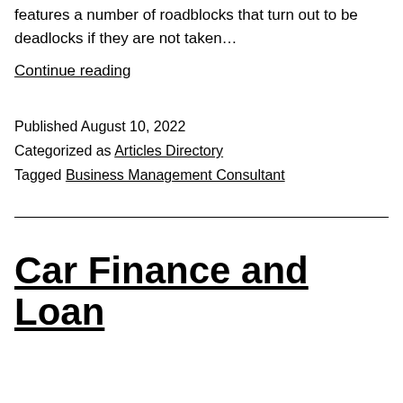features a number of roadblocks that turn out to be deadlocks if they are not taken…
Continue reading
Published August 10, 2022
Categorized as Articles Directory
Tagged Business Management Consultant
Car Finance and Loan